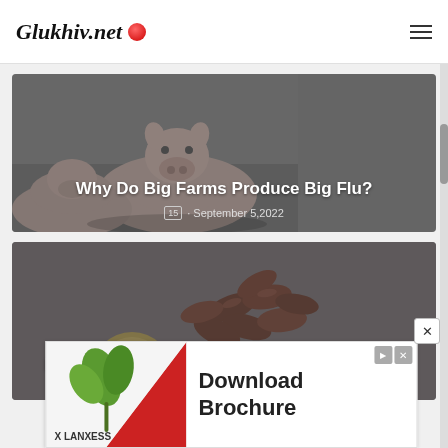Glukhiv.net
[Figure (photo): Article card with pigs photo: 'Why Do Big Farms Produce Big Flu?' dated September 5, 2022]
[Figure (photo): Article card with pine nuts photo: 'Pine Nuts: Properties And Nutritional Values']
[Figure (other): Advertisement banner: 'Download Brochure' by LANXESS with plant/red background image]